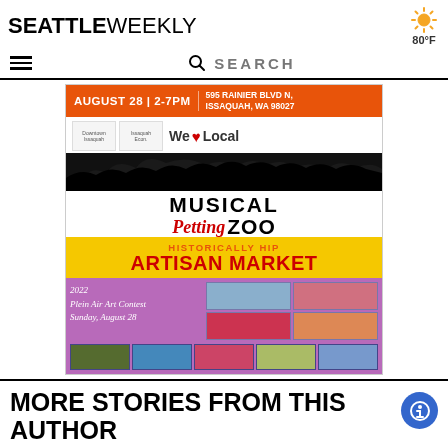SEATTLE WEEKLY — 80°F
[Figure (screenshot): Seattle Weekly website navigation bar with hamburger menu icon and search bar]
[Figure (infographic): Event advertisement for Musical Petting Zoo and Historically Hip Artisan Market on August 28, 2-7PM at 595 Rainier Blvd N, Issaquah WA 98027. Features We Love Local branding, 2022 Plein Air Art Contest Sunday August 28.]
MORE STORIES FROM THIS AUTHOR